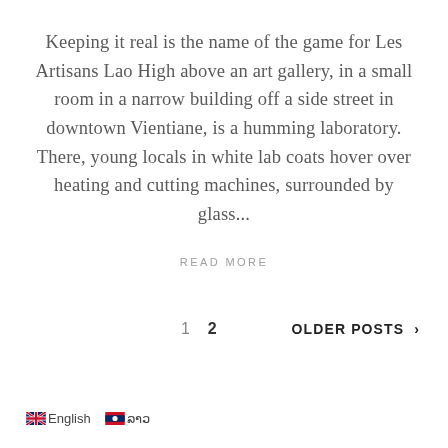Keeping it real is the name of the game for Les Artisans Lao High above an art gallery, in a small room in a narrow building off a side street in downtown Vientiane, is a humming laboratory. There, young locals in white lab coats hover over heating and cutting machines, surrounded by glass...
READ MORE
1  2  OLDER POSTS >
English  ລາວ